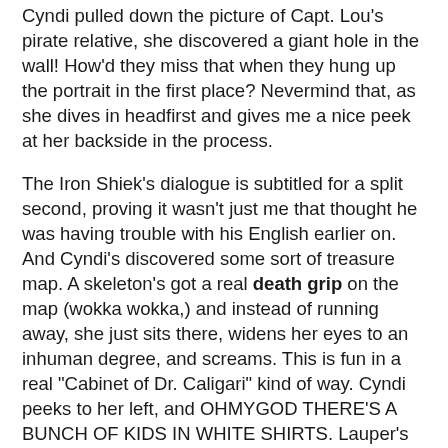Cyndi pulled down the picture of Capt. Lou's pirate relative, she discovered a giant hole in the wall! How'd they miss that when they hung up the portrait in the first place? Nevermind that, as she dives in headfirst and gives me a nice peek at her backside in the process.
The Iron Shiek's dialogue is subtitled for a split second, proving it wasn't just me that thought he was having trouble with his English earlier on. And Cyndi's discovered some sort of treasure map. A skeleton's got a real death grip on the map (wokka wokka,) and instead of running away, she just sits there, widens her eyes to an inhuman degree, and screams. This is fun in a real "Cabinet of Dr. Caligari" kind of way. Cyndi peeks to her left, and OHMYGOD THERE'S A BUNCH OF KIDS IN WHITE SHIRTS. Lauper's scared now, but still isn't really trying to get away. The kids shuffle around a bit, and suddenly... magic! Their shirts spell "GOONIES." Looks like most of the kids from the film were available for the video shoot. We've got Mikey's big brother, Chunk, Mikey himself, Data, Mouth, and the annoying lesbian blonde girl. And they've all got really cheaply made shirts on, each containing one letter to the word 'goonies.' How clever.